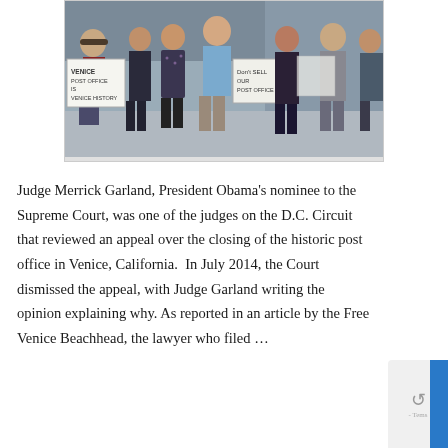[Figure (photo): A group of people standing together holding protest signs reading 'Venice Post Office is Venice History' and 'Don't Sell Our Post Office', at what appears to be a street demonstration.]
Judge Merrick Garland, President Obama's nominee to the Supreme Court, was one of the judges on the D.C. Circuit that reviewed an appeal over the closing of the historic post office in Venice, California.  In July 2014, the Court dismissed the appeal, with Judge Garland writing the opinion explaining why. As reported in an article by the Free Venice Beachhead, the lawyer who filed …